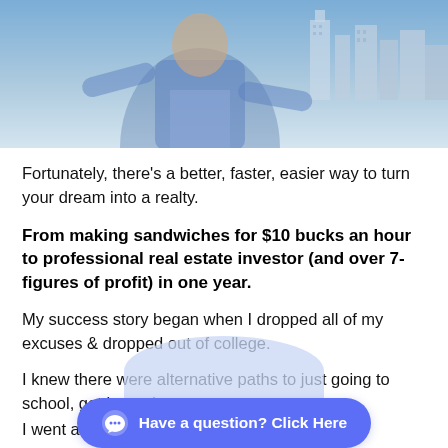[Figure (photo): Man in blue blazer and light blue shirt standing with arms outstretched against a city skyline background]
Fortunately, there's a better, faster, easier way to turn your dream into a realty.
From making sandwiches for $10 bucks an hour to professional real estate investor (and over 7-figures of profit) in one year.
My success story began when I dropped all of my excuses & dropped out of college.
I knew there were alternative paths to just going to school, getting a d
I went all in on real estate investing.
[Figure (other): Chat button overlay: Have a question? Click Here]